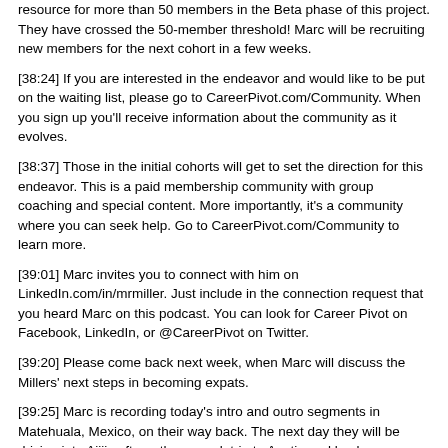resource for more than 50 members in the Beta phase of this project. They have crossed the 50-member threshold! Marc will be recruiting new members for the next cohort in a few weeks.
[38:24] If you are interested in the endeavor and would like to be put on the waiting list, please go to CareerPivot.com/Community. When you sign up you'll receive information about the community as it evolves.
[38:37] Those in the initial cohorts will get to set the direction for this endeavor. This is a paid membership community with group coaching and special content. More importantly, it's a community where you can seek help. Go to CareerPivot.com/Community to learn more.
[39:01] Marc invites you to connect with him on LinkedIn.com/in/mrmiller. Just include in the connection request that you heard Marc on this podcast. You can look for Career Pivot on Facebook, LinkedIn, or @CareerPivot on Twitter.
[39:20] Please come back next week, when Marc will discuss the Millers' next steps in becoming expats.
[39:25] Marc is recording today's intro and outro segments in Matehuala, Mexico, on their way back. The next day they will be driving into Ajijic after a three-week trip to Austin and back.
[39:47] Marc thanks you for listening to the Repurpose Your Career podcast.
[39:50] You will find the show notes for this episode at